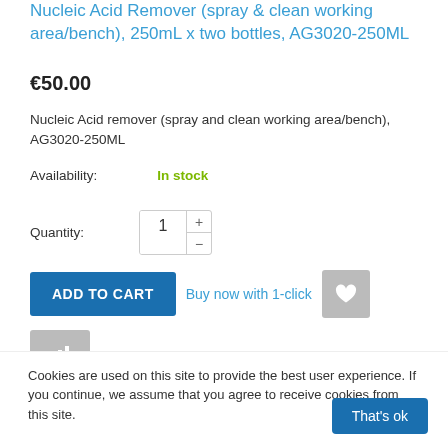Nucleic Acid Remover (spray & clean working area/bench), 250mL x two bottles, AG3020-250ML
€50.00
Nucleic Acid remover (spray and clean working area/bench), AG3020-250ML
Availability: In stock
Quantity: 1
ADD TO CART  Buy now with 1-click
Cookies are used on this site to provide the best user experience. If you continue, we assume that you agree to receive cookies from this site.
That's ok